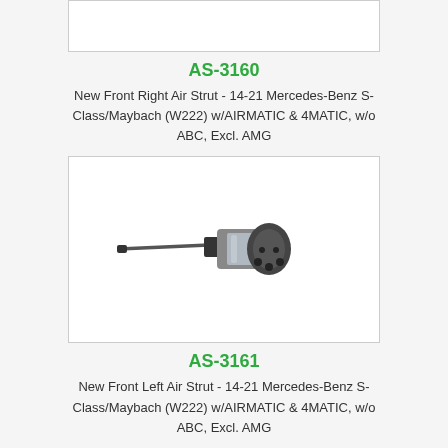[Figure (photo): Top partial image box showing bottom portion of a product image (cropped)]
AS-3160
New Front Right Air Strut - 14-21 Mercedes-Benz S-Class/Maybach (W222) w/AIRMATIC & 4MATIC, w/o ABC, Excl. AMG
[Figure (photo): Photo of an air strut component (black and silver) for Mercedes-Benz, AS-3161]
AS-3161
New Front Left Air Strut - 14-21 Mercedes-Benz S-Class/Maybach (W222) w/AIRMATIC & 4MATIC, w/o ABC, Excl. AMG
[Figure (photo): Bottom partial image box (cropped, next product)]